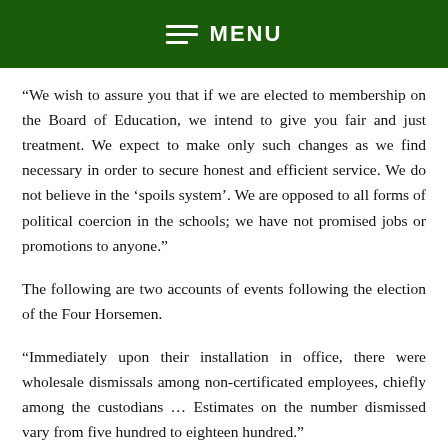MENU
“We wish to assure you that if we are elected to membership on the Board of Education, we intend to give you fair and just treatment. We expect to make only such changes as we find necessary in order to secure honest and efficient service. We do not believe in the ‘spoils system’. We are opposed to all forms of political coercion in the schools; we have not promised jobs or promotions to anyone.”
The following are two accounts of events following the election of the Four Horsemen.
“Immediately upon their installation in office, there were wholesale dismissals among non-certificated employees, chiefly among the custodians … Estimates on the number dismissed vary from five hundred to eighteen hundred.”